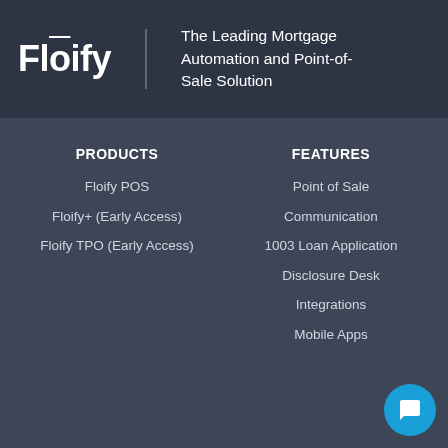[Figure (logo): Floify logo with stylized text in white on dark background]
The Leading Mortgage Automation and Point-of-Sale Solution
PRODUCTS
Floify POS
Floify+ (Early Access)
Floify TPO (Early Access)
FEATURES
Point of Sale
Communication
1003 Loan Application
Disclosure Desk
Integrations
Mobile Apps
RESOURCES
COMPANY